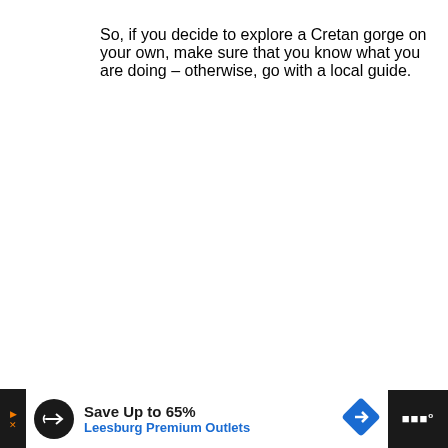So, if you decide to explore a Cretan gorge on your own, make sure that you know what you are doing – otherwise, go with a local guide.
The Local Food
[Figure (photo): Close-up photo of grilled or baked food items (possibly fish or meat) on a plate with colorful garnishes in the background]
WHAT'S NEXT → 10 Best Greek Islands in...
Save Up to 65% Leesburg Premium Outlets